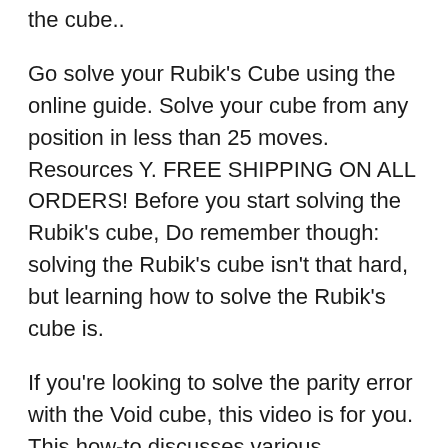the cube..
Go solve your Rubik's Cube using the online guide. Solve your cube from any position in less than 25 moves. Resources Y. FREE SHIPPING ON ALL ORDERS! Before you start solving the Rubik's cube, Do remember though: solving the Rubik's cube isn't that hard, but learning how to solve the Rubik's cube is.
If you're looking to solve the parity error with the Void cube, this video is for you. This how-to discusses various algorithms you'll need to know in order to solve This article does not teach you how to solve a Rubik's cube from start to finish. This is a list of very specific algorithms for specific situations where people